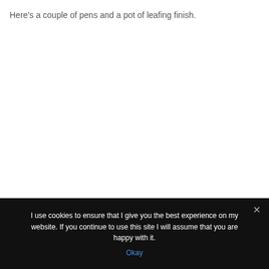Here’s a couple of pens and a pot of leafing finish.
I use cookies to ensure that I give you the best experience on my website. If you continue to use this site I will assume that you are happy with it.
Okay